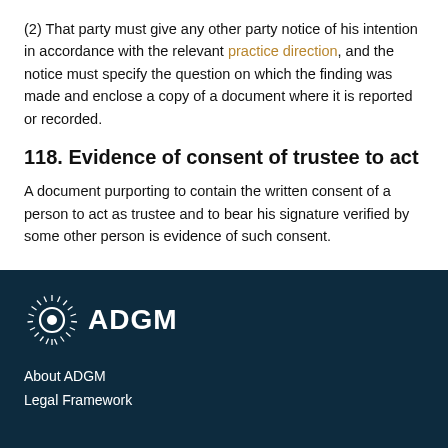(2) That party must give any other party notice of his intention in accordance with the relevant practice direction, and the notice must specify the question on which the finding was made and enclose a copy of a document where it is reported or recorded.
118. Evidence of consent of trustee to act
A document purporting to contain the written consent of a person to act as trustee and to bear his signature verified by some other person is evidence of such consent.
[Figure (logo): ADGM logo — circular radial lines icon followed by the text ADGM in white on dark teal background]
About ADGM
Legal Framework